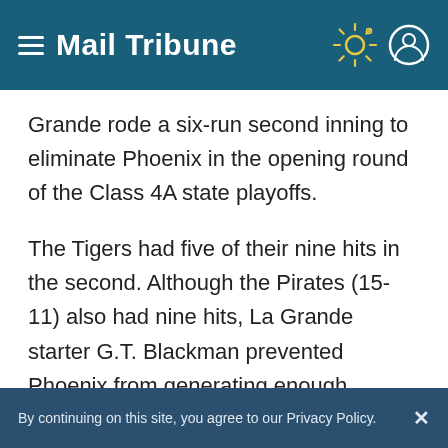Mail Tribune
Grande rode a six-run second inning to eliminate Phoenix in the opening round of the Class 4A state playoffs.
The Tigers had five of their nine hits in the second. Although the Pirates (15-11) also had nine hits, La Grande starter G.T. Blackman prevented Phoenix from generating enough offense for ace James Turnbull, who finished the season with an 8-2 record.
By continuing on this site, you agree to our Privacy Policy.